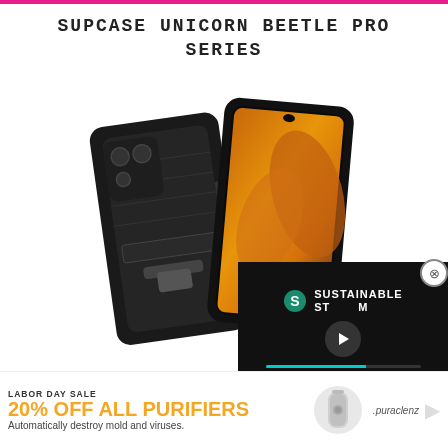SUPCASE UNICORN BEETLE PRO SERIES
[Figure (photo): Product photo of SUPCASE Unicorn Beetle Pro Series phone case for Samsung Galaxy S21, showing two views: back of rugged black protective case with card slot and kickstand, and front view showing phone screen with orange/yellow wallpaper]
Full-body protection
The Unicorn Beetle Pro series from SUPCASE is ma... ma... ma...
[Figure (screenshot): Video overlay with Sustainable Stream logo and play button with teal progress bar]
[Figure (infographic): Advertisement banner: LABOR DAY SALE 20% OFF ALL PURIFIERS Automatically destroy mold and viruses. puraclenz brand logo with product image]